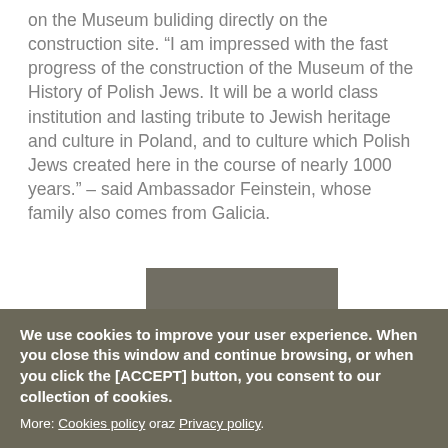on the Museum buliding directly on the construction site. “I am impressed with the fast progress of the construction of the Museum of the History of Polish Jews. It will be a world class institution and lasting tribute to Jewish heritage and culture in Poland, and to culture which Polish Jews created here in the course of nearly 1000 years.” – said Ambassador Feinstein, whose family also comes from Galicia.
[Figure (other): Gray rectangular image placeholder with the word NEWS at the bottom center]
We use cookies to improve your user experience. When you close this window and continue browsing, or when you click the [ACCEPT] button, you consent to our collection of cookies. More: Cookies policy oraz Privacy policy.